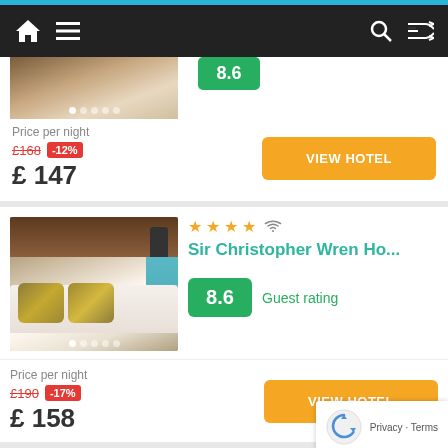Navigation bar with home, menu, search, shuffle icons
[Figure (screenshot): Partial hotel card top showing image carousel with dots, price per night £168 with -12% discount, final price £147, and VIEW HOTEL button]
Price per night
£168 -12%
£ 147
[Figure (photo): Hotel bedroom photo showing golden yellow pillows on white bed with dark wood headboard and wall lamp]
Sir Christopher Wren Ho...
8.6 Guest rating
Price per night
£190 -17%
£ 158
[Figure (photo): Partial hotel image at bottom showing curtains]